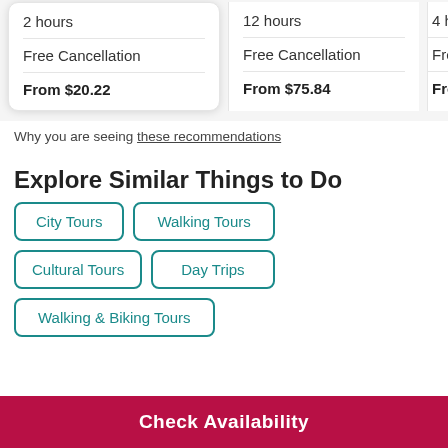2 hours
Free Cancellation
From $20.22
12 hours
Free Cancellation
From $75.84
4 ho...
Free...
From...
Why you are seeing these recommendations
Explore Similar Things to Do
City Tours
Walking Tours
Cultural Tours
Day Trips
Walking & Biking Tours
Check Availability